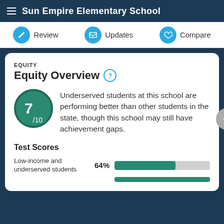Sun Empire Elementary School
Review
Updates
Compare
EQUITY
Equity Overview
7/10 Underserved students at this school are performing better than other students in the state, though this school may still have achievement gaps.
Test Scores
Low-income and underserved students 64%
[Figure (bar-chart): Test Scores]